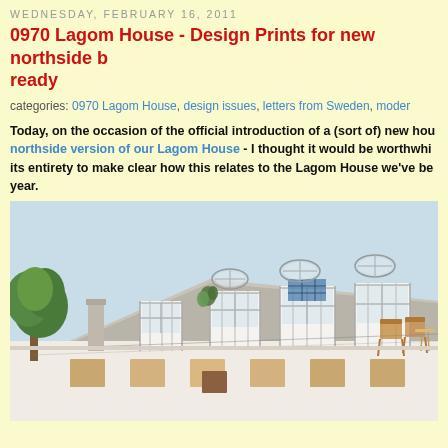WEDNESDAY, FEBRUARY 16, 2011
0970 Lagom House - Design Prints for new northside b... ready
categories: 0970 Lagom House, design issues, letters from Sweden, modern...
Today, on the occasion of the official introduction of a (sort of) new hou... northside version of our Lagom House - I thought it would be worthwhi... its entirety to make clear how this relates to the Lagom House we've be... year.
[Figure (illustration): Architectural rendering of the Lagom House northside version, showing a rooftop with skylights, dormer windows with glass frames, solar panels, a tree on the left, and a patio area with furniture on the right. Light blue sky background.]